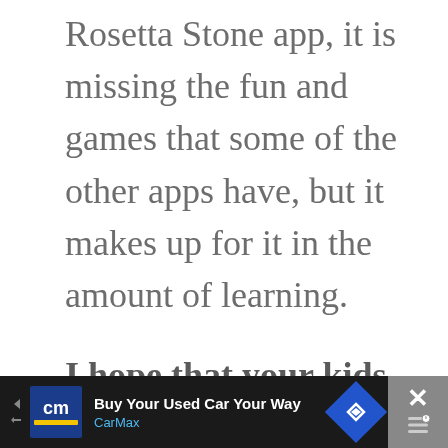Rosetta Stone app, it is missing the fun and games that some of the other apps have, but it makes up for it in the amount of learning.
I hope that your kids have fun learning Spanish with different apps! Is there one you like that is not on the
[Figure (other): CarMax advertisement banner at the bottom of the screen. Shows CarMax logo (cm in blue box with yellow stripe), text 'Buy Your Used Car Your Way' and 'CarMax' in blue, a blue diamond navigation arrow icon, and a grey close (X) button.]